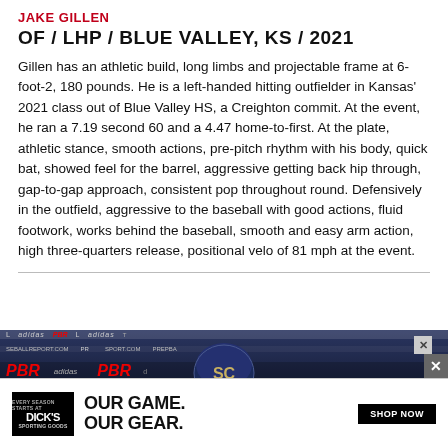JAKE GILLEN
OF / LHP / BLUE VALLEY, KS / 2021
Gillen has an athletic build, long limbs and projectable frame at 6-foot-2, 180 pounds. He is a left-handed hitting outfielder in Kansas' 2021 class out of Blue Valley HS, a Creighton commit. At the event, he ran a 7.19 second 60 and a 4.47 home-to-first. At the plate, athletic stance, smooth actions, pre-pitch rhythm with his body, quick bat, showed feel for the barrel, aggressive getting back hip through, gap-to-gap approach, consistent pop throughout round. Defensively in the outfield, aggressive to the baseball with good actions, fluid footwork, works behind the baseball, smooth and easy arm action, high three-quarters release, positional velo of 81 mph at the event.
[Figure (photo): Baseball player wearing a dark cap with SC logo in front of PBR and adidas sponsor banners]
[Figure (screenshot): Dick's Sporting Goods advertisement: OUR GAME. OUR GEAR. SHOP NOW]